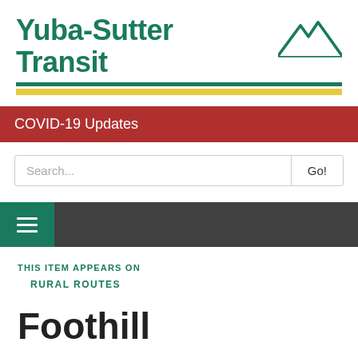[Figure (logo): Yuba-Sutter Transit logo with mountain graphic, green text, green and yellow horizontal lines]
COVID-19 Updates
Search...
Go!
[Figure (other): Dark navigation bar with hamburger menu icon on green background]
THIS ITEM APPEARS ON
RURAL ROUTES
Foothill